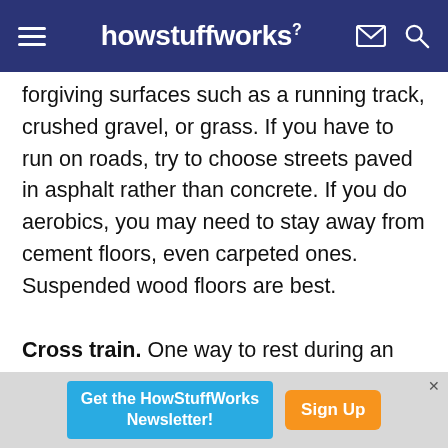howstuffworks
forgiving surfaces such as a running track, crushed gravel, or grass. If you have to run on roads, try to choose streets paved in asphalt rather than concrete. If you do aerobics, you may need to stay away from cement floors, even carpeted ones. Suspended wood floors are best.

Cross train. One way to rest during an episode of shin splints without cutting out exercise altogether is to switch to another type of activity. If you're a runner, add some swimming, stationary cycling, or
Get the HowStuffWorks Newsletter! Sign Up